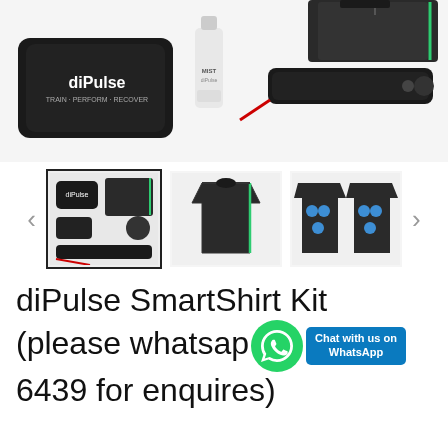[Figure (photo): Main product photo showing diPulse SmartShirt Kit components: carrying case with 'diPulse' branding, spray mist bottle, electrode bar accessory, compression shirt with green trim, and fitness tracker device]
[Figure (photo): Thumbnail 1 (selected/active, with border): Full kit components laid out including shirt, electrodes, case, spray, and cable]
[Figure (photo): Thumbnail 2: diPulse compression shirt with black and green trim, front view]
[Figure (photo): Thumbnail 3: Two compression shirts with blue electrode placement indicators on chest and back]
diPulse SmartShirt Kit (please whatsapp 6439 for enquires)